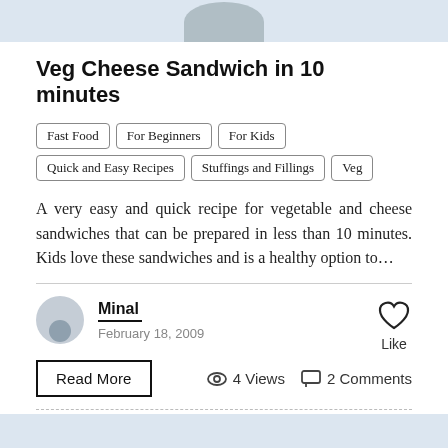[Figure (photo): Top portion of a recipe card image with light blue background and partial silhouette avatar at bottom]
Veg Cheese Sandwich in 10 minutes
Fast Food
For Beginners
For Kids
Quick and Easy Recipes
Stuffings and Fillings
Veg
A very easy and quick recipe for vegetable and cheese sandwiches that can be prepared in less than 10 minutes. Kids love these sandwiches and is a healthy option to...
Minal
February 18, 2009
Like
Read More
4 Views
2 Comments
[Figure (photo): Bottom portion showing start of next recipe card with light blue background]